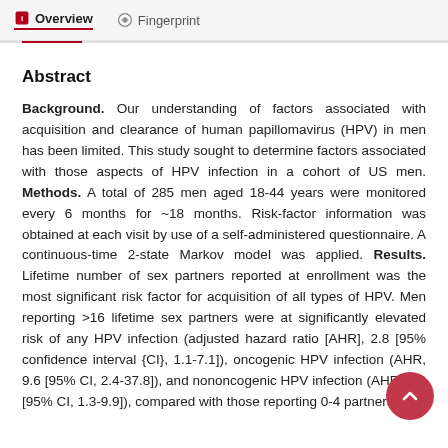Overview  Fingerprint
Abstract
Background. Our understanding of factors associated with acquisition and clearance of human papillomavirus (HPV) in men has been limited. This study sought to determine factors associated with those aspects of HPV infection in a cohort of US men. Methods. A total of 285 men aged 18-44 years were monitored every 6 months for ~18 months. Risk-factor information was obtained at each visit by use of a self-administered questionnaire. A continuous-time 2-state Markov model was applied. Results. Lifetime number of sex partners reported at enrollment was the most significant risk factor for acquisition of all types of HPV. Men reporting >16 lifetime sex partners were at significantly elevated risk of any HPV infection (adjusted hazard ratio [AHR], 2.8 [95% confidence interval {CI}, 1.1-7.1]), oncogenic HPV infection (AHR, 9.6 [95% CI, 2.4-37.8]), and nononcogenic HPV infection (AHR, 3.6 [95% CI, 1.3-9.9]), compared with those reporting 0-4 partners.